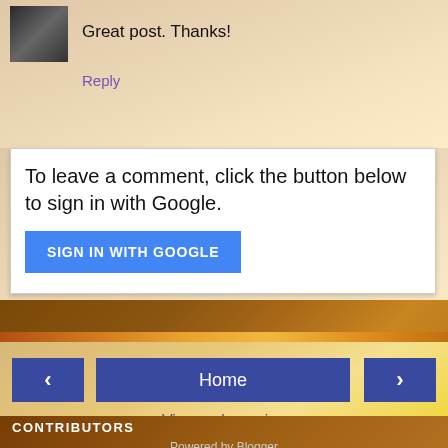Great post. Thanks!
Reply
To leave a comment, click the button below to sign in with Google.
SIGN IN WITH GOOGLE
‹
Home
›
View web version
CONTRIBUTORS
Allison
Jess
Kat
Powered by Blogger